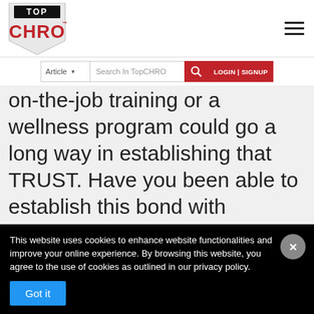TOP CHRO — website header with logo, hamburger menu, and search/login bar
on-the-job training or a wellness program could go a long way in establishing that TRUST. Have you been able to establish this bond with
This website uses cookies to enhance website functionalities and improve your online experience. By browsing this website, you agree to the use of cookies as outlined in our privacy policy.